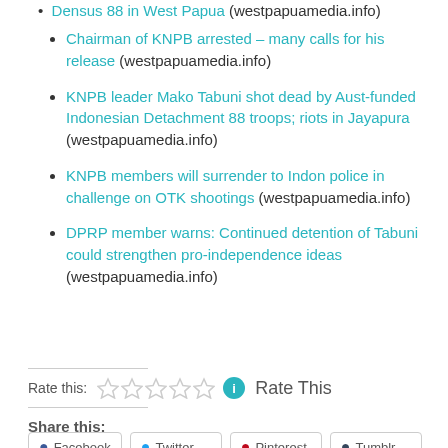Chairman of KNPB arrested – many calls for his release (westpapuamedia.info)
KNPB leader Mako Tabuni shot dead by Aust-funded Indonesian Detachment 88 troops; riots in Jayapura (westpapuamedia.info)
KNPB members will surrender to Indon police in challenge on OTK shootings (westpapuamedia.info)
DPRP member warns: Continued detention of Tabuni could strengthen pro-independence ideas (westpapuamedia.info)
Rate this: ☆☆☆☆☆ ℹ Rate This
Share this:
Facebook  Twitter  Pinterest  Tumblr